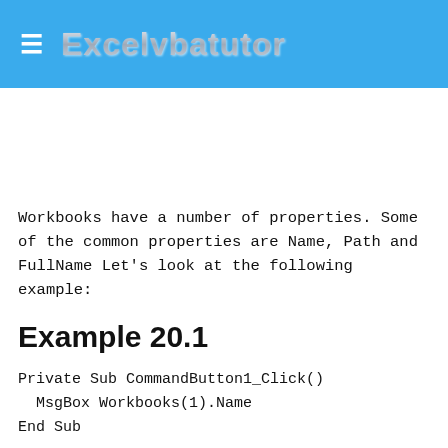Excelvbatutor
Workbooks have a number of properties. Some of the common properties are Name, Path and FullName Let's look at the following example:
Example 20.1
Private Sub CommandButton1_Click()
  MsgBox Workbooks(1).Name
End Sub